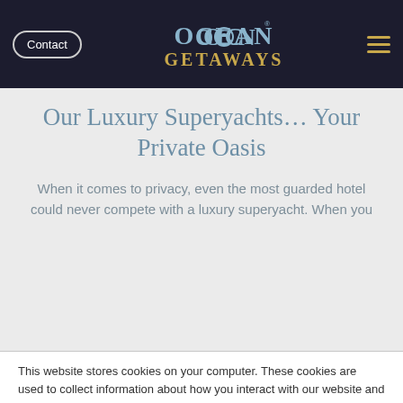Contact | Ocean Getaways
Our Luxury Superyachts… Your Private Oasis
When it comes to privacy, even the most guarded hotel could never compete with a luxury superyacht. When you
This website stores cookies on your computer. These cookies are used to collect information about how you interact with our website and allow us to remember you. We use this information in order to improve and customize your browsing experience and for analytics and metrics about our visitors both on this website and other media. To find out more about the cookies we use, see our Privacy Policy
If you decline, your information won't be tracked when you visit this website. A single cookie will be used in your browser to remember your preference not to be tracked.